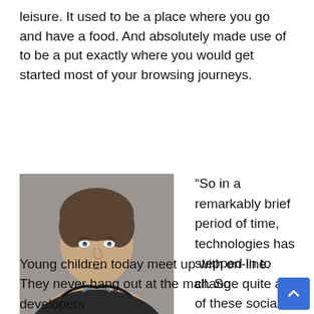leisure. It used to be a place where you go and have a food. And absolutely made use of to be a put exactly where you would get started most of your browsing journeys.
[Figure (photo): Headshot of Doug Stephens, a middle-aged man with short dark hair wearing a dark jacket]
Doug Stephens
“So in a remarkably brief period of time, technologies has stepped in to change quite a few of these social and commercial capabilities.
Young children today meet up with on-line. They never hang out at the mall. So developers